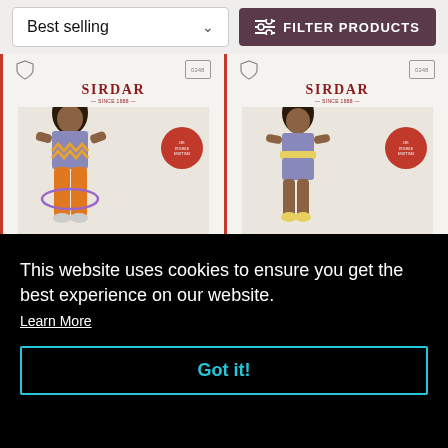Best selling | FILTER PRODUCTS
[Figure (screenshot): Two Sirdar knitting pattern product cards showing children wearing knitted garments. Left card: child in purple zigzag sweater with orange trousers. Right card: child in purple and yellow dress/romper. Both cards have Sirdar logo, shield icon, tag icon, and red circular badge.]
This website uses cookies to ensure you get the best experience on our website.
Learn More
Got it!